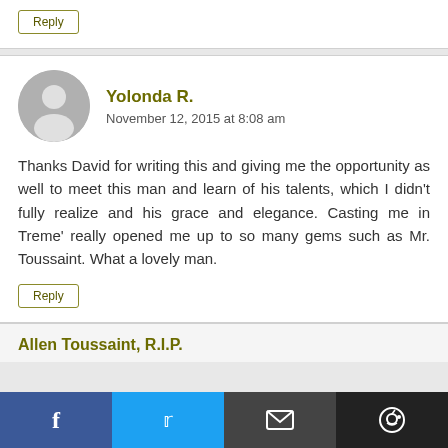Reply
Yolonda R.
November 12, 2015 at 8:08 am
Thanks David for writing this and giving me the opportunity as well to meet this man and learn of his talents, which I didn't fully realize and his grace and elegance. Casting me in Treme' really opened me up to so many gems such as Mr. Toussaint. What a lovely man.
Reply
Allen Toussaint, R.I.P.